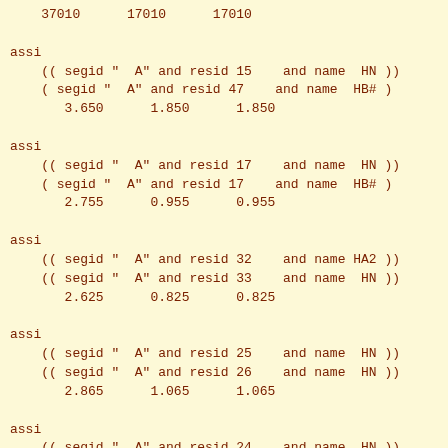37010      17010      17010
assi
    (( segid "  A" and resid 15    and name  HN ))
    ( segid "  A" and resid 47    and name  HB# )
       3.650      1.850      1.850
assi
    (( segid "  A" and resid 17    and name  HN ))
    ( segid "  A" and resid 17    and name  HB# )
       2.755      0.955      0.955
assi
    (( segid "  A" and resid 32    and name HA2 ))
    (( segid "  A" and resid 33    and name  HN ))
       2.625      0.825      0.825
assi
    (( segid "  A" and resid 25    and name  HN ))
    (( segid "  A" and resid 26    and name  HN ))
       2.865      1.065      1.065
assi
    (( segid "  A" and resid 24    and name  HN ))
    (( segid "  A" and resid 26    and name  HN ))
       3.345      1.545      1.545
assi
    (( segid "  A" and resid 23    and name  HN ))
    (( segid "  A" and resid 26    and name  HN ))
       3.400      1.600      1.600